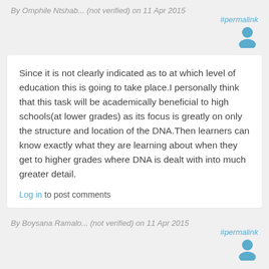By Omphile Ntshab... (not verified) on 11 Apr 2015
#permalink
[Figure (illustration): User avatar icon (blue silhouette)]
Since it is not clearly indicated as to at which level of education this is going to take place.I personally think that this task will be academically beneficial to high schools(at lower grades) as its focus is greatly on only the structure and location of the DNA.Then learners can know exactly what they are learning about when they get to higher grades where DNA is dealt with into much greater detail.
Log in to post comments
By Boysana Ramalo... (not verified) on 11 Apr 2015
#permalink
[Figure (illustration): User avatar icon (blue silhouette)]